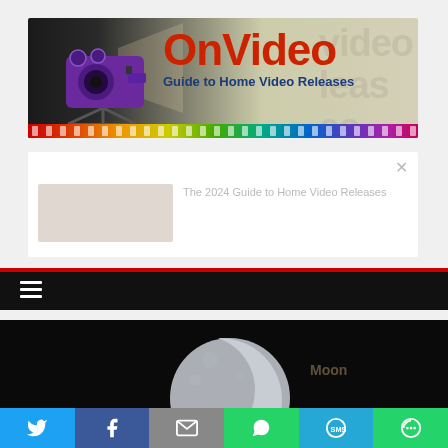[Figure (logo): OnVideo logo with purple film camera, red 'OnVideo' text, blue subtitle 'Guide to Home Video Releases', rainbow film strip at bottom]
Read Next
[Figure (screenshot): Read Next card with placeholder image thumbnail and faded article title text]
[Figure (screenshot): Dark navigation bar with hamburger menu icon, red stripe at top]
[Figure (photo): Moon photo against dark/black night sky background]
[Figure (infographic): Social sharing bar with Twitter, Facebook, Email, WhatsApp, SMS, and More buttons]